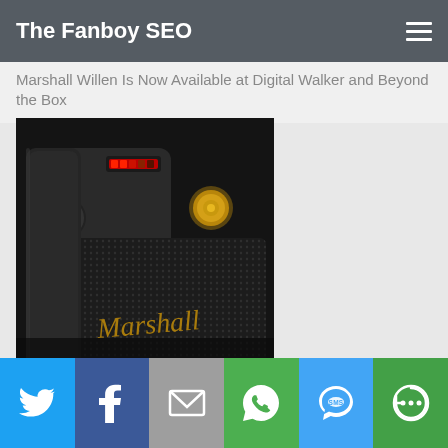The Fanboy SEO
Marshall Willen Is Now Available at Digital Walker and Beyond the Box
[Figure (photo): Marshall Willen portable Bluetooth speaker in black with gold Marshall script logo, viewed at angle showing front mesh grille and top controls including red LED indicator and gold knob]
Twitter | Facebook | Email | WhatsApp | SMS | More